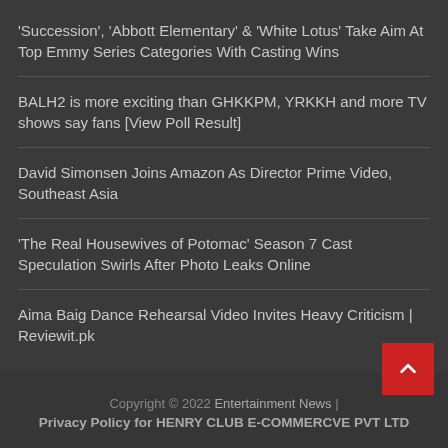'Succession', 'Abbott Elementary' & 'White Lotus' Take Aim At Top Emmy Series Categories With Casting Wins
BALH2 is more exciting than GHKKPM, YRKKH and more TV shows say fans [View Poll Result]
David Simonsen Joins Amazon As Director Prime Video, Southeast Asia
'The Real Housewives of Potomac' Season 7 Cast Speculation Swirls After Photo Leaks Online
Aima Baig Dance Rehearsal Video Invites Heavy Criticism | Reviewit.pk
Copyright © 2022 Entertainment News  |  Privacy Policy for HENRY CLUB E-COMMERCVE PVT LTD